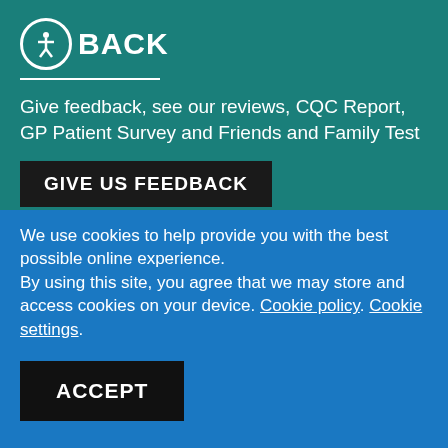[Figure (logo): Accessibility icon (person in circle) followed by text 'FEEDBACK' in white bold on teal background with white underline]
Give feedback, see our reviews, CQC Report, GP Patient Survey and Friends and Family Test
GIVE US FEEDBACK
We use cookies to help provide you with the best possible online experience.
By using this site, you agree that we may store and access cookies on your device. Cookie policy. Cookie settings.
ACCEPT